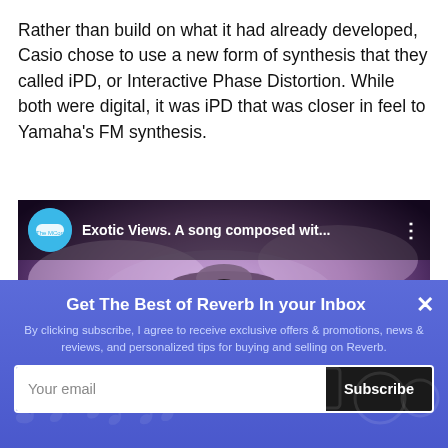Rather than build on what it had already developed, Casio chose to use a new form of synthesis that they called iPD, or Interactive Phase Distortion. While both were digital, it was iPD that was closer in feel to Yamaha's FM synthesis.
[Figure (screenshot): YouTube video thumbnail showing 'Exotic Views. A song composed wit...' with a fantasy landscape background featuring a UFO/flying object, purple clouds, and a cityscape silhouette.]
Get The Best of Reverb In your Inbox
By clicking subscribe, I agree to receive exclusive offers & promotions, news & reviews, and personalized tips for buying and selling on Reverb.